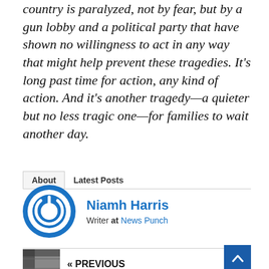country is paralyzed, not by fear, but by a gun lobby and a political party that have shown no willingness to act in any way that might help prevent these tragedies. It's long past time for action, any kind of action. And it's another tragedy—a quieter but no less tragic one—for families to wait another day.
About   Latest Posts
Niamh Harris
Writer at News Punch
« PREVIOUS